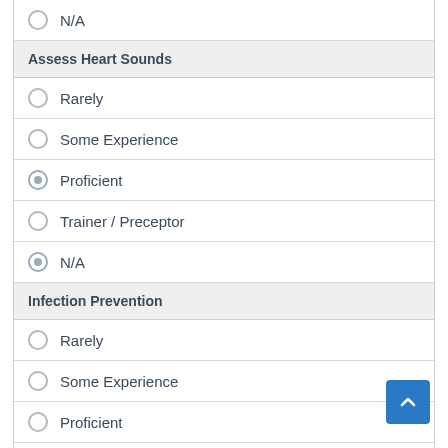N/A
Assess Heart Sounds
Rarely
Some Experience
Proficient
Trainer / Preceptor
N/A
Infection Prevention
Rarely
Some Experience
Proficient
Trainer / Preceptor
N/A